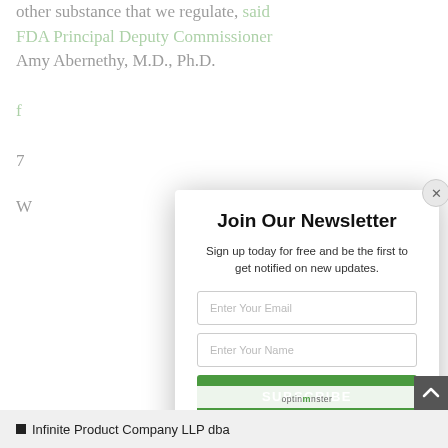other substance that we regulate, said FDA Principal Deputy Commissioner Amy Abernethy, M.D., Ph.D.
Join Our Newsletter
Sign up today for free and be the first to get notified on new updates.
Enter Your Email
Enter Your Name
SUBSCRIBE
We do not sell or share your information with anyone.
optinmonster
Infinite Product Company LLP dba